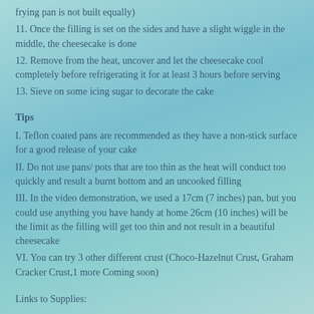frying pan is not built equally)
11. Once the filling is set on the sides and have a slight wiggle in the middle, the cheesecake is done
12. Remove from the heat, uncover and let the cheesecake cool completely before refrigerating it for at least 3 hours before serving
13. Sieve on some icing sugar to decorate the cake
Tips
I. Teflon coated pans are recommended as they have a non-stick surface for a good release of your cake
II. Do not use pans/ pots that are too thin as the heat will conduct too quickly and result a burnt bottom and an uncooked filling
III. In the video demonstration, we used a 17cm (7 inches) pan, but you could use anything you have handy at home 26cm (10 inches) will be the limit as the filling will get too thin and not result in a beautiful cheesecake
VI. You can try 3 other different crust (Choco-Hazelnut Crust, Graham Cracker Crust,1 more Coming soon)
Links to Supplies: